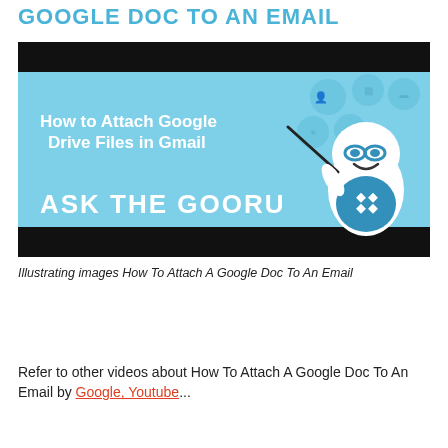GOOGLE DOC TO AN EMAIL
[Figure (illustration): Thumbnail image for 'Ask The Gooru' video about How to Attach Google Drive Files in Gmail. Light blue background with black bars at top and bottom. Text reads 'How to Attach Google Drive Files in Gmail' and 'ASK THE GOORU' in white. Cartoon mascot character (white ghost-like figure with blue glasses and bow tie, holding a pointer). Social media icons in the upper right.]
Illustrating images How To Attach A Google Doc To An Email
Refer to other videos about How To Attach A Google Doc To An Email by Google, Youtube...